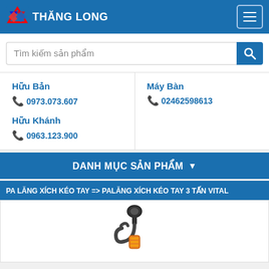THĂNG LONG
Tìm kiếm sản phẩm
Hữu Bản
0973.073.607
Hữu Khánh
0963.123.900
Máy Bàn
02462598613
DANH MỤC SẢN PHẨM
PA LĂNG XÍCH KÉO TAY => PALĂNG XÍCH KÉO TAY 3 TẤN VITAL
[Figure (photo): Photo of a chain hoist hook assembly (palăng xích kéo tay), showing the hook and pulley mechanism]